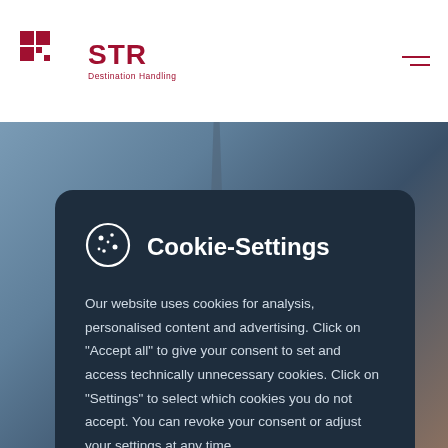STR Destination Handling
[Figure (screenshot): Background photo of Paris with Eiffel Tower and buildings visible]
Cookie-Settings
Our website uses cookies for analysis, personalised content and advertising. Click on "Accept all" to give your consent to set and access technically unnecessary cookies. Click on "Settings" to select which cookies you do not accept. You can revoke your consent or adjust your settings at any time.
Accept all
Accept necessary cookies